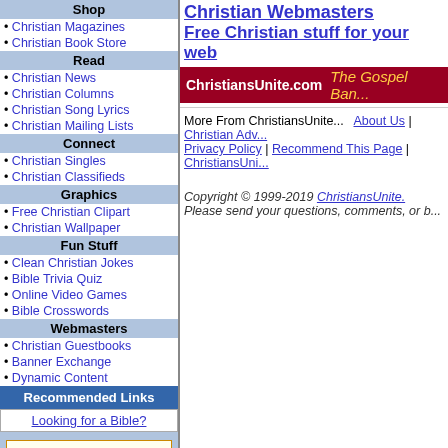Shop
Christian Magazines
Christian Book Store
Read
Christian News
Christian Columns
Christian Song Lyrics
Christian Mailing Lists
Connect
Christian Singles
Christian Classifieds
Graphics
Free Christian Clipart
Christian Wallpaper
Fun Stuff
Clean Christian Jokes
Bible Trivia Quiz
Online Video Games
Bible Crosswords
Webmasters
Christian Guestbooks
Banner Exchange
Dynamic Content
Recommended Links
Looking for a Bible?
Subscribe to our Free Newsletter. Enter your email address:
Christian Webmasters
Free Christian stuff for your web
ChristiansUnite.com  The Gospel Ban...
More From ChristiansUnite...  About Us | Christian Adv... Privacy Policy | Recommend This Page | ChristiansUni...
Copyright © 1999-2019 ChristiansUnite. Please send your questions, comments, or b...